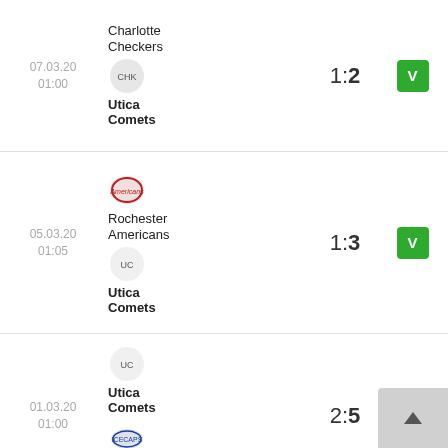07.03.20 01:00 | Charlotte Checkers vs Utica Comets | 1:2 | V
05.03.20 01:05 | Rochester Americans vs Utica Comets | 1:3 | V
01.03.20 01:00 | Utica Comets vs Laval Rocket | 2:5 | P